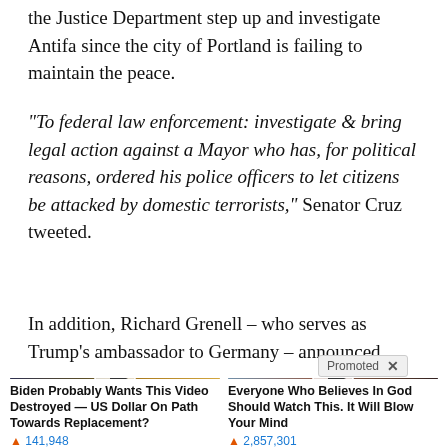the Justice Department step up and investigate Antifa since the city of Portland is failing to maintain the peace.
“To federal law enforcement: investigate & bring legal action against a Mayor who has, for political reasons, ordered his police officers to let citizens be attacked by domestic terrorists,” Senator Cruz tweeted.
In addition, Richard Grenell – who serves as Trump’s ambassador to Germany – announced
[Figure (screenshot): Promoted advertisement thumbnail: man in dark suit at a financial news desk (NYSE background), with a play button overlay. Caption: Biden Probably Wants This Video Destroyed — US Dollar On Path Towards Replacement? Views: 141,948]
[Figure (screenshot): Promoted advertisement thumbnail: outdoor scene with wooden crosses in a desert/cemetery landscape with mountains, play button overlay. Caption: Everyone Who Believes In God Should Watch This. It Will Blow Your Mind. Views: 2,857,301]
Biden Probably Wants This Video Destroyed — US Dollar On Path Towards Replacement?
🔥 141,948
Everyone Who Believes In God Should Watch This. It Will Blow Your Mind
🔥 2,857,301